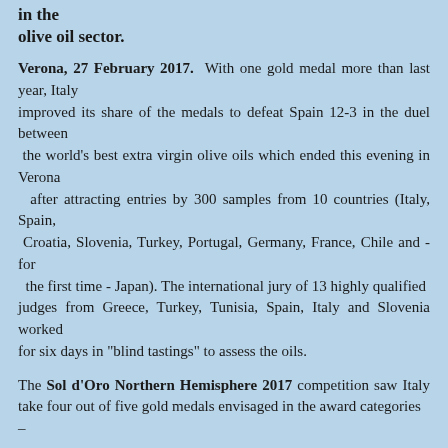in the olive oil sector.
Verona, 27 February 2017.  With one gold medal more than last year, Italy improved its share of the medals to defeat Spain 12-3 in the duel between the world's best extra virgin olive oils which ended this evening in Verona after attracting entries by 300 samples from 10 countries (Italy, Spain, Croatia, Slovenia, Turkey, Portugal, Germany, France, Chile and - for the first time - Japan). The international jury of 13 highly qualified judges from Greece, Turkey, Tunisia, Spain, Italy and Slovenia worked for six days in "blind tastings" to assess the oils.
The Sol d'Oro Northern Hemisphere 2017 competition saw Italy take four out of five gold medals envisaged in the award categories –